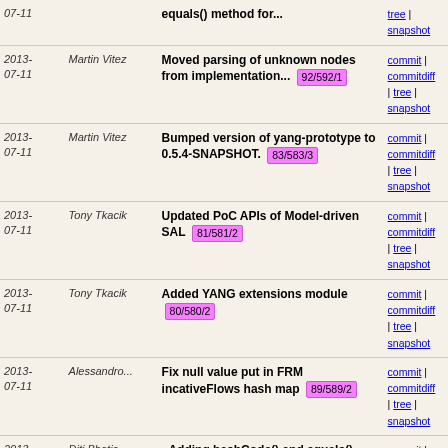| Date | Author | Message | Links |
| --- | --- | --- | --- |
| 2013-07-11 | Martin Vitez | Moved parsing of unknown nodes from implementation... 92/592/1 | commit | commitdiff | tree | snapshot |
| 2013-07-11 | Martin Vitez | Bumped version of yang-prototype to 0.5.4-SNAPSHOT. 83/583/3 | commit | commitdiff | tree | snapshot |
| 2013-07-11 | Tony Tkacik | Updated PoC APIs of Model-driven SAL 81/581/2 | commit | commitdiff | tree | snapshot |
| 2013-07-11 | Tony Tkacik | Added YANG extensions module 80/580/2 | commit | commitdiff | tree | snapshot |
| 2013-07-11 | Alessandro... | Fix null value put in FRM incativeFlows hash map 89/589/2 | commit | commitdiff | tree | snapshot |
| 2013-07-10 | Diti Bhatia | - Adding hashCode() and equals() method for v6Match 88/588/1 | commit | commitdiff | tree | snapshot |
| 2013-07-10 | Alessandro... | Merge "Add operational port status" | commit | commitdiff | tree | snapshot |
| 2013-07-10 | Yevgeny Khodorkovsky | Bug fixes and styling 86/586/1 | commit | commitdiff | tree | snapshot |
| 2013-07-10 | Andrew Kim | Add operational port status 85/585/1 | commit | commitdiff | tree | snapshot |
| 2013-07-10 | Yevgeny Khodorkovsky | Move stats caching to FM StatisticsManager 75/575/7 | commit | commitdiff | tree | snapshot |